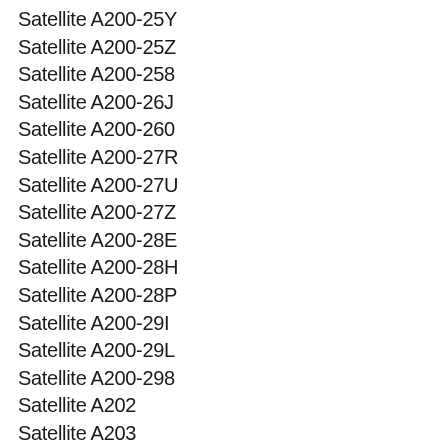Satellite A200-25Y
Satellite A200-25Z
Satellite A200-258
Satellite A200-26J
Satellite A200-260
Satellite A200-27R
Satellite A200-27U
Satellite A200-27Z
Satellite A200-28E
Satellite A200-28H
Satellite A200-28P
Satellite A200-29I
Satellite A200-29L
Satellite A200-298
Satellite A202
Satellite A203
Satellite A205
Satellite A205 Series
Satellite A205-S4537
Satellite A205-S4557